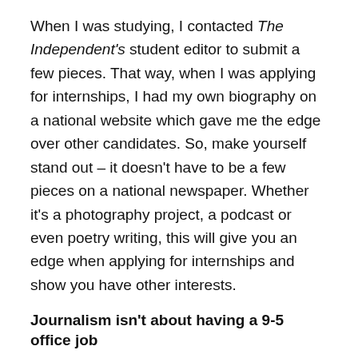When I was studying, I contacted The Independent's student editor to submit a few pieces. That way, when I was applying for internships, I had my own biography on a national website which gave me the edge over other candidates. So, make yourself stand out – it doesn't have to be a few pieces on a national newspaper. Whether it's a photography project, a podcast or even poetry writing, this will give you an edge when applying for internships and show you have other interests.
Journalism isn't about having a 9-5 office job
I've spent most of my career having a staffer job at magazines but that doesn't mean that's the only route. When I worked at a nursing magazine, I continued freelancing for other magazines including Cosmopolitan, VICE, Refinery29, The Pool, The Debrief, The Independent and The Telegraph.